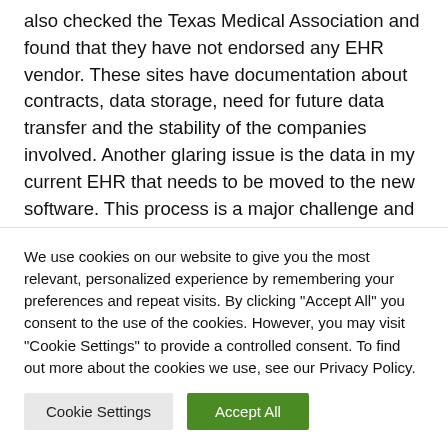also checked the Texas Medical Association and found that they have not endorsed any EHR vendor. These sites have documentation about contracts, data storage, need for future data transfer and the stability of the companies involved. Another glaring issue is the data in my current EHR that needs to be moved to the new software. This process is a major challenge and has many pitfalls—potential loss of data or improper mapping to the new database, for example. At this point, accounting will be "aged" in the current software,
We use cookies on our website to give you the most relevant, personalized experience by remembering your preferences and repeat visits. By clicking "Accept All" you consent to the use of the cookies. However, you may visit "Cookie Settings" to provide a controlled consent. To find out more about the cookies we use, see our Privacy Policy.